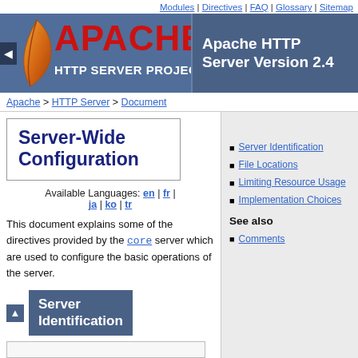Modules | Directives | FAQ | Glossary | Sitemap
[Figure (logo): Apache HTTP Server Project logo with feather and red APACHE text on dark blue banner, Server Version 2.4]
Apache > HTTP Server > Document
Server-Wide Configuration
Available Languages: en | fr | ja | ko | tr
This document explains some of the directives provided by the core server which are used to configure the basic operations of the server.
Server Identification
File Locations
Limiting Resource Usage
Implementation Choices
See also
Comments
Server Identification